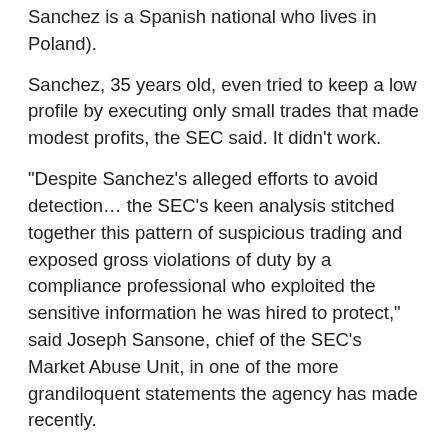Sanchez is a Spanish national who lives in Poland).
Sanchez, 35 years old, even tried to keep a low profile by executing only small trades that made modest profits, the SEC said. It didn't work.
“Despite Sanchez’s alleged efforts to avoid detection… the SEC’s keen analysis stitched together this pattern of suspicious trading and exposed gross violations of duty by a compliance professional who exploited the sensitive information he was hired to protect,” said Joseph Sansone, chief of the SEC’s Market Abuse Unit, in one of the more grandiloquent statements the agency has made recently.
As a compliance analyst, Sanchez had to sign an internal Goldman Sachs policy requiring employees to disclose “covered accounts,” including brokerage accounts controlled by the employee or family members. He also had to pre-clear any trades on those covered accounts with Goldman, including a certification that the employee wasn’t aware of any material, nonpublic information related to the trade.
Moreover, the SEC says, Sanchez certified at least three